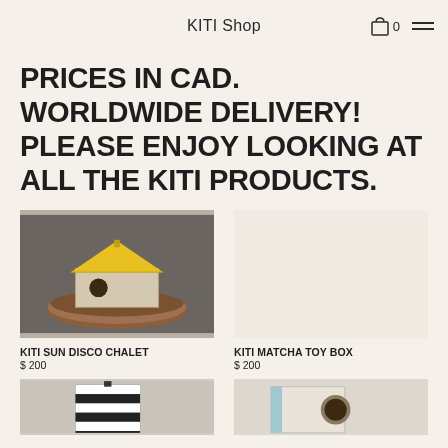KITI Shop
PRICES IN CAD. WORLDWIDE DELIVERY! PLEASE ENJOY LOOKING AT ALL THE KITI PRODUCTS.
[Figure (photo): KITI Sun Disco Chalet product photo – a small wooden birdhouse-style toy with a yellow roof sitting on a wood slice]
KITI SUN DISCO CHALET
$ 200
[Figure (photo): KITI Matcha Toy Box product area – empty/blank photo placeholder]
KITI MATCHA TOY BOX
$ 200
[Figure (photo): Bottom-left product – partially visible dark box with stripe pattern]
[Figure (photo): Bottom-right product – partially visible light colored box with circle opening]